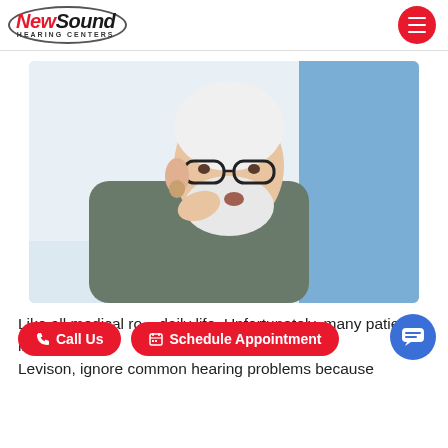NewSound Hearing Centers
[Figure (photo): Elderly man with white hair and beard wearing glasses and a hearing aid, looking up at a healthcare professional in blue scrubs who is touching his shoulder. The man is adjusting his hearing aid with his hand.]
Like all medical ro... daily life. Unfortunately, many patients, like J.J. Levison, ignore common hearing problems because